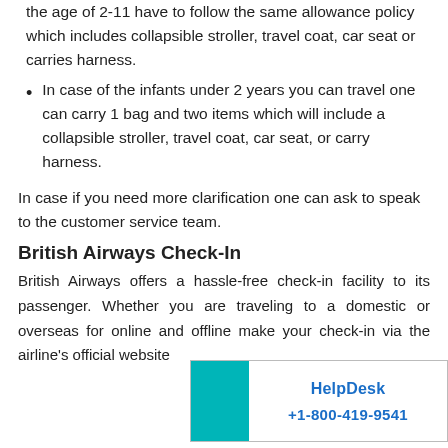the age of 2-11 have to follow the same allowance policy which includes collapsible stroller, travel coat, car seat or carries harness.
In case of the infants under 2 years you can travel one can carry 1 bag and two items which will include a collapsible stroller, travel coat, car seat, or carry harness.
In case if you need more clarification one can ask to speak to the customer service team.
British Airways Check-In
British Airways offers a hassle-free check-in facility to its passenger. Whether you are traveling to a domestic or overseas for online and offline make your check-in via the airline’s official website
[Figure (infographic): HelpDesk popup box with teal square on left and text 'HelpDesk' and '+1-800-419-9541' in blue on right]